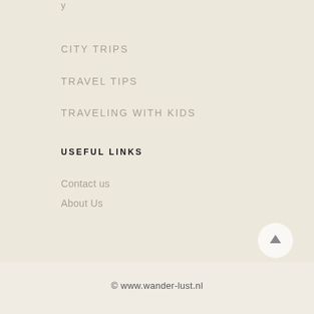CITY TRIPS
TRAVEL TIPS
TRAVELING WITH KIDS
USEFUL LINKS
Contact us
About Us
© www.wander-lust.nl